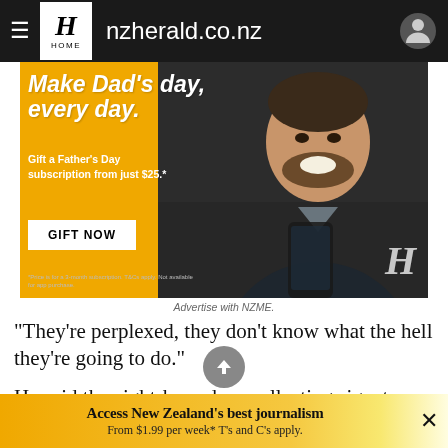nzherald.co.nz
[Figure (photo): NZ Herald Father's Day subscription advertisement. Yellow and dark background with a man smiling at a phone. Text reads 'Make Dad's day, every day. Gift a Father's Day subscription from just $25.*' with a 'GIFT NOW' button.]
Advertise with NZME.
"They're perplexed, they don't know what the hell they're going to do."
He said the eight-hour days collecting signatures was "knocking the hell" out of him.
Access New Zealand's best journalism From $1.99 per week* T's and C's apply.